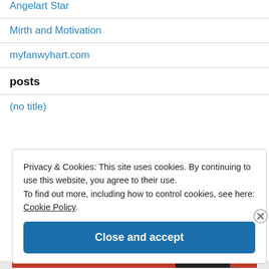Angelart Star
Mirth and Motivation
myfanwyhart.com
posts
(no title)
Privacy & Cookies: This site uses cookies. By continuing to use this website, you agree to their use.
To find out more, including how to control cookies, see here: Cookie Policy
Close and accept